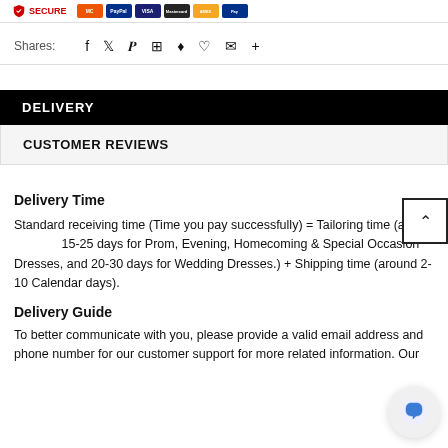[Figure (screenshot): Top bar with SECURE badge and payment icons (Mastercard, PayPal, Visa, etc.)]
Shares:
[Figure (infographic): Social sharing icons: Facebook, Twitter, Pinterest, Grid, Bookmark, Heart, Email, Plus]
DELIVERY
CUSTOMER REVIEWS
Delivery Time
Standard receiving time (Time you pay successfully) = Tailoring time (around 15-25 days for Prom, Evening, Homecoming & Special Occasion Dresses, and 20-30 days for Wedding Dresses.) + Shipping time (around 2-10 Calendar days).
Delivery Guide
To better communicate with you, please provide a valid email address and phone number for our customer support for more related information. Our